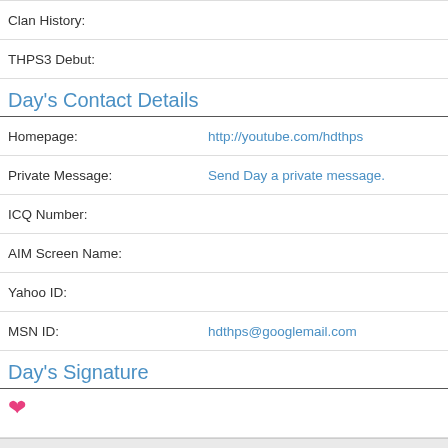Clan History:
THPS3 Debut:
Day's Contact Details
| Field | Value |
| --- | --- |
| Homepage: | http://youtube.com/hdthps |
| Private Message: | Send Day a private message. |
| ICQ Number: |  |
| AIM Screen Name: |  |
| Yahoo ID: |  |
| MSN ID: | hdthps@googlemail.com |
Day's Signature
♥
Contact Us | Chapter 3 | Lite (Archive) Mode | RSS Syndication
© 2022 Chapter 3